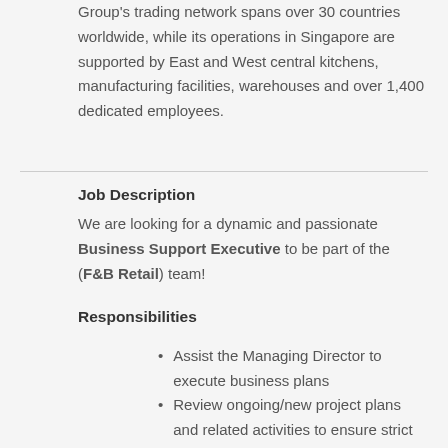Group's trading network spans over 30 countries worldwide, while its operations in Singapore are supported by East and West central kitchens, manufacturing facilities, warehouses and over 1,400 dedicated employees.
Job Description
We are looking for a dynamic and passionate Business Support Executive to be part of the (F&B Retail) team!
Responsibilities
Assist the Managing Director to execute business plans
Review ongoing/new project plans and related activities to ensure strict compliance with relevant